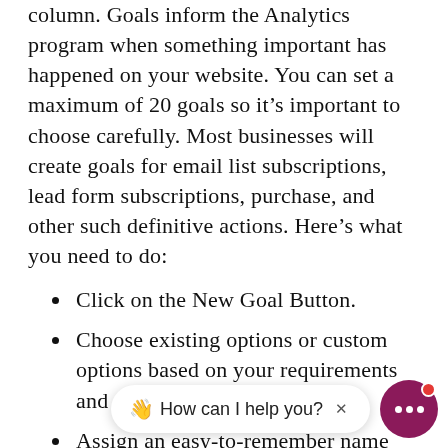column. Goals inform the Analytics program when something important has happened on your website. You can set a maximum of 20 goals so it's important to choose carefully. Most businesses will create goals for email list subscriptions, lead form subscriptions, purchase, and other such definitive actions. Here's what you need to do:
Click on the New Goal Button.
Choose existing options or custom options based on your requirements and click the Next button.
Assign an easy-to-remember name and choose the Destination option before moving onto t...